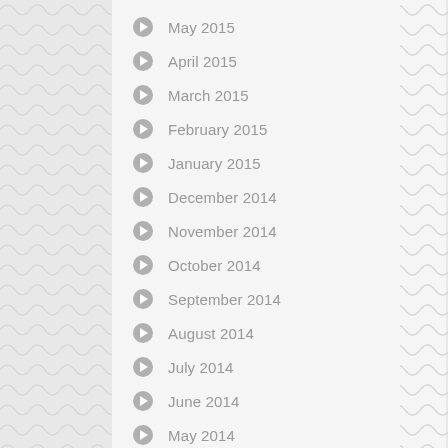May 2015
April 2015
March 2015
February 2015
January 2015
December 2014
November 2014
October 2014
September 2014
August 2014
July 2014
June 2014
May 2014
April 2014
March 2014